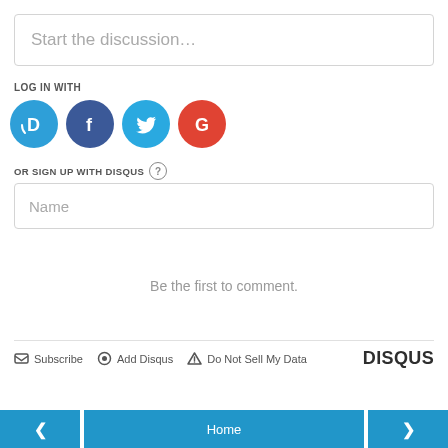Start the discussion…
LOG IN WITH
[Figure (other): Social login icons: Disqus (D), Facebook (F), Twitter bird, Google (G)]
OR SIGN UP WITH DISQUS ?
Name
Be the first to comment.
Subscribe  Add Disqus  Do Not Sell My Data  DISQUS
< Home >